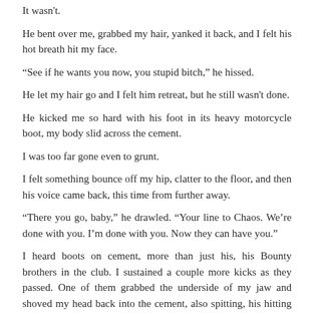It wasn't.
He bent over me, grabbed my hair, yanked it back, and I felt his hot breath hit my face.
“See if he wants you now, you stupid bitch,” he hissed.
He let my hair go and I felt him retreat, but he still wasn't done.
He kicked me so hard with his foot in its heavy motorcycle boot, my body slid across the cement.
I was too far gone even to grunt.
I felt something bounce off my hip, clatter to the floor, and then his voice came back, this time from further away.
“There you go, baby,” he drawled. “Your line to Chaos. We’re done with you. I’m done with you. Now they can have you.”
I heard boots on cement, more than just his, his Bounty brothers in the club. I sustained a couple more kicks as they passed. One of them grabbed the underside of my jaw and shoved my head back into the cement, also spitting, his hitting my neck.
And then they were gone.